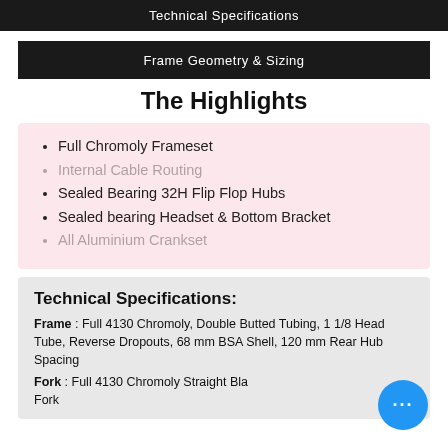Technical Specifications
Frame Geometry & Sizing
The Highlights
Full Chromoly Frameset
Internal Cable Routing
Sealed Bearing 32H Flip Flop Hubs
Sealed bearing Headset & Bottom Bracket
All Aluminium Crankset
Technical Specifications:
Frame : Full 4130 Chromoly, Double Butted Tubing, 1 1/8 Head Tube, Reverse Dropouts, 68 mm BSA Shell, 120 mm Rear Hub Spacing
Fork : Full 4130 Chromoly Straight Blade Fork